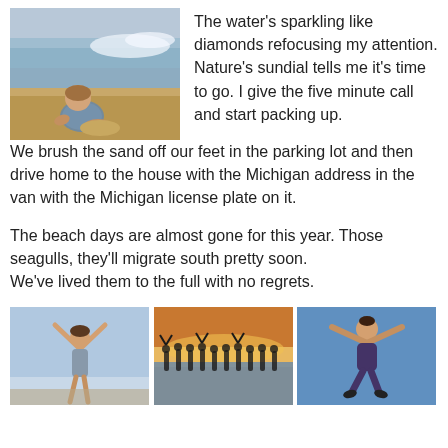[Figure (photo): Child sitting on sand at beach near water, viewed from behind/side]
The water's sparkling like diamonds refocusing my attention. Nature's sundial tells me it's time to go. I give the five minute call and start packing up. We brush the sand off our feet in the parking lot and then drive home to the house with the Michigan address in the van with the Michigan license plate on it.
The beach days are almost gone for this year. Those seagulls, they'll migrate south pretty soon.
We've lived them to the full with no regrets.
[Figure (photo): Person with arms raised at beach]
[Figure (photo): Group of people standing in water at sunset with arms raised]
[Figure (photo): Person jumping with arms raised against blue sky]